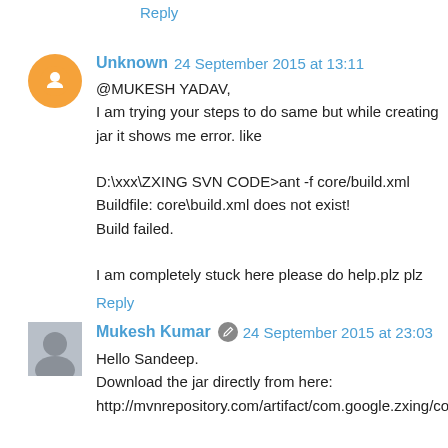Reply
Unknown 24 September 2015 at 13:11
@MUKESH YADAV,
I am trying your steps to do same but while creating jar it shows me error. like

D:\xxx\ZXING SVN CODE>ant -f core/build.xml
Buildfile: core\build.xml does not exist!
Build failed.

I am completely stuck here please do help.plz plz
Reply
Mukesh Kumar  24 September 2015 at 23:03
Hello Sandeep.
Download the jar directly from here:
http://mvnrepository.com/artifact/com.google.zxing/core/2.2